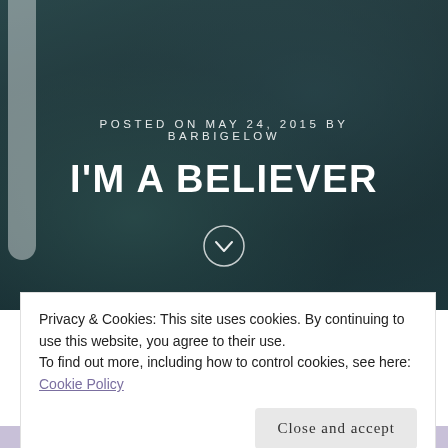[Figure (photo): Dark atmospheric photo of people dining outdoors at night, with a woman in sunglasses in the foreground and a server in the background, overlaid with teal/dark color grading]
POSTED ON MAY 24, 2015 BY BARBIGELOW
I'M A BELIEVER
Privacy & Cookies: This site uses cookies. By continuing to use this website, you agree to their use.
To find out more, including how to control cookies, see here: Cookie Policy
Close and accept